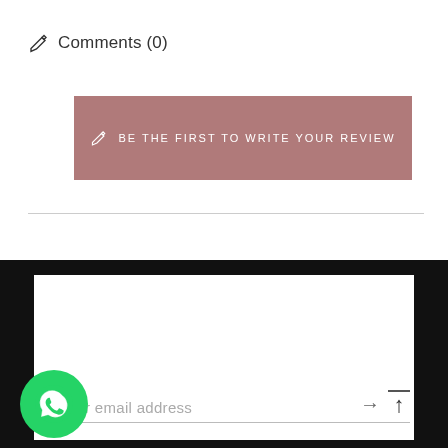Comments (0)
[Figure (other): Button with pencil icon: BE THE FIRST TO WRITE YOUR REVIEW]
your email address
STAY UP TO DATE
[Figure (other): WhatsApp green circle icon button at bottom left]